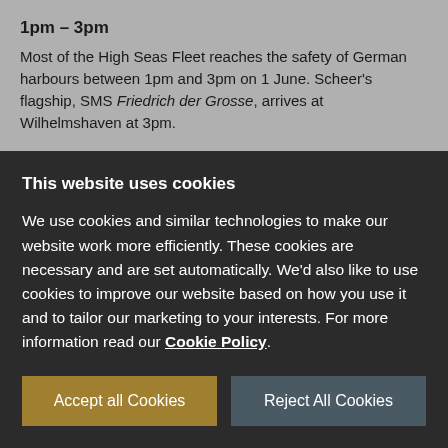1pm – 3pm
Most of the High Seas Fleet reaches the safety of German harbours between 1pm and 3pm on 1 June. Scheer's flagship, SMS Friedrich der Grosse, arrives at Wilhelmshaven at 3pm.
This website uses cookies
We use cookies and similar technologies to make our website work more efficiently. These cookies are necessary and are set automatically. We'd also like to use cookies to improve our website based on how you use it and to tailor our marketing to your interests. For more information read our Cookie Policy.
Accept all Cookies
Reject All Cookies
Manage Cookies